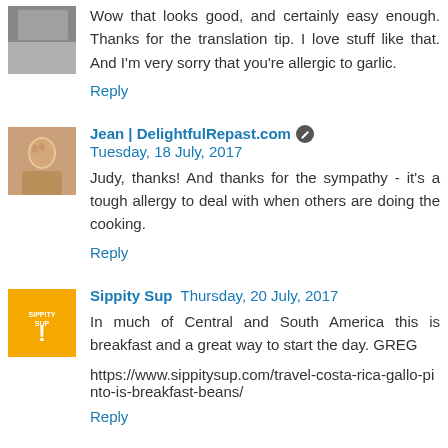Wow that looks good, and certainly easy enough. Thanks for the translation tip. I love stuff like that. And I'm very sorry that you're allergic to garlic.
Reply
Jean | DelightfulRepast.com  Tuesday, 18 July, 2017
Judy, thanks! And thanks for the sympathy - it's a tough allergy to deal with when others are doing the cooking.
Reply
Sippity Sup  Thursday, 20 July, 2017
In much of Central and South America this is breakfast and a great way to start the day. GREG
https://www.sippitysup.com/travel-costa-rica-gallo-pinto-is-breakfast-beans/
Reply